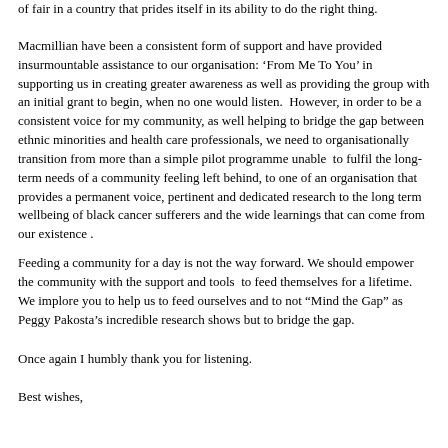of fair  in a country that prides itself in its ability to do the right thing.
Macmillian have been a consistent form of support and have provided insurmountable assistance to our organisation: ‘From Me To You’ in supporting us in creating greater awareness as well as providing the group with an initial grant to begin, when no one would listen.  However, in order to be a consistent voice for my community, as well helping to bridge the gap between ethnic minorities and health care professionals, we need to organisationally transition from more than a simple pilot programme unable  to fulfil the long-term needs of a community feeling left behind, to one of an organisation that provides a permanent voice, pertinent and dedicated research to the long term wellbeing of black cancer sufferers and the wide learnings that can come from our existence .
Feeding a community for a day is not the way forward. We should empower the community with the support and tools  to feed themselves for a lifetime. We implore you to help us to feed ourselves and to not “Mind the Gap” as Peggy Pakosta’s incredible research shows but to bridge the gap.
Once again I humbly thank you for listening.
Best wishes,